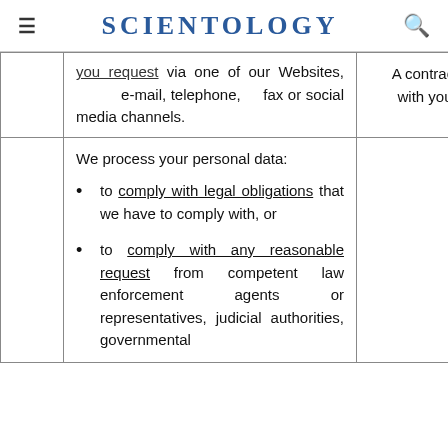SCIENTOLOGY
|  | Purpose / How we use your data | Legal basis |
| --- | --- | --- |
|  | you request via one of our Websites, e-mail, telephone, fax or social media channels. | A contract with you |
|  | We process your personal data:
• to comply with legal obligations that we have to comply with, or
• to comply with any reasonable request from competent law enforcement agents or representatives, judicial authorities, governmental... |  |